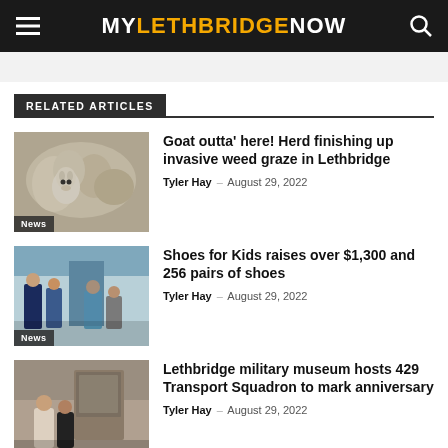MY LETHBRIDGE NOW
RELATED ARTICLES
[Figure (photo): Goats in a herd, white and brown, close-up. News tag in bottom-left.]
Goat outta' here! Herd finishing up invasive weed graze in Lethbridge
Tyler Hay – August 29, 2022
[Figure (photo): Police officers and people at a car trunk outdoor event. News tag in bottom-left.]
Shoes for Kids raises over $1,300 and 256 pairs of shoes
Tyler Hay – August 29, 2022
[Figure (photo): Two people posing indoors at what appears to be a military museum.]
Lethbridge military museum hosts 429 Transport Squadron to mark anniversary
Tyler Hay – August 29, 2022